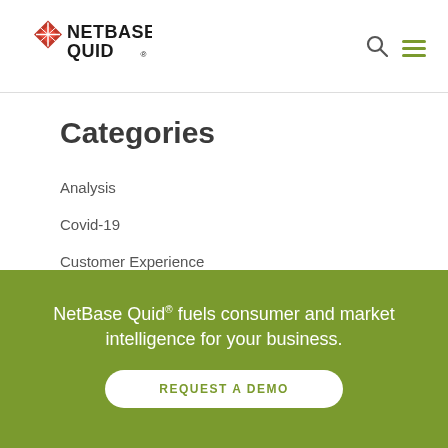[Figure (logo): NetBase Quid logo with red graphic element and bold black text]
Categories
Analysis
Covid-19
Customer Experience
Executive Insights
Intelligence
NetBase Quid® fuels consumer and market intelligence for your business.
REQUEST A DEMO